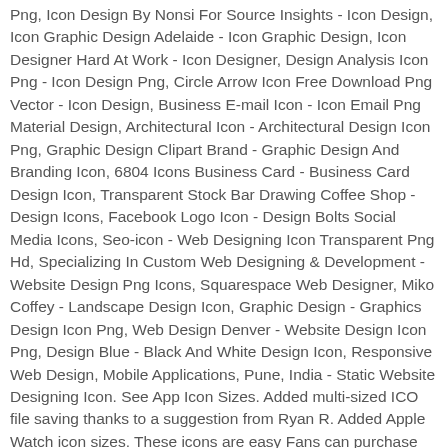Png, Icon Design By Nonsi For Source Insights - Icon Design, Icon Graphic Design Adelaide - Icon Graphic Design, Icon Designer Hard At Work - Icon Designer, Design Analysis Icon Png - Icon Design Png, Circle Arrow Icon Free Download Png Vector - Icon Design, Business E-mail Icon - Icon Email Png Material Design, Architectural Icon - Architectural Design Icon Png, Graphic Design Clipart Brand - Graphic Design And Branding Icon, 6804 Icons Business Card - Business Card Design Icon, Transparent Stock Bar Drawing Coffee Shop - Design Icons, Facebook Logo Icon - Design Bolts Social Media Icons, Seo-icon - Web Designing Icon Transparent Png Hd, Specializing In Custom Web Designing & Development - Website Design Png Icons, Squarespace Web Designer, Miko Coffey - Landscape Design Icon, Graphic Design - Graphics Design Icon Png, Web Design Denver - Website Design Icon Png, Design Blue - Black And White Design Icon, Responsive Web Design, Mobile Applications, Pune, India - Static Website Designing Icon. See App Icon Sizes. Added multi-sized ICO file saving thanks to a suggestion from Ryan R. Added Apple Watch icon sizes. These icons are easy Fans can purchase exclusive merch including Live From the Artists Den, apparel, outerwear, CDs, accessories, vinyl, and more. The Art Tools Icons Set illustrations for all kinds of tools